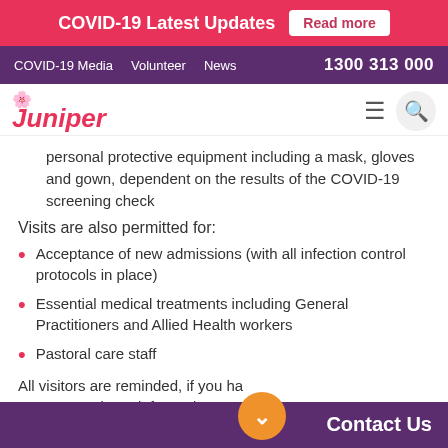COVID-19 Latest Updates  Read more
COVID-19 Media  Volunteer  News  1300 313 000
[Figure (logo): Juniper logo with flower icon and italic pink text]
personal protective equipment including a mask, gloves and gown, dependent on the results of the COVID-19 screening check
Visits are also permitted for:
Acceptance of new admissions (with all infection control protocols in place)
Essential medical treatments including General Practitioners and Allied Health workers
Pastoral care staff
All visitors are reminded, if you ha... overseas or been informed you are a close contact
Contact Us